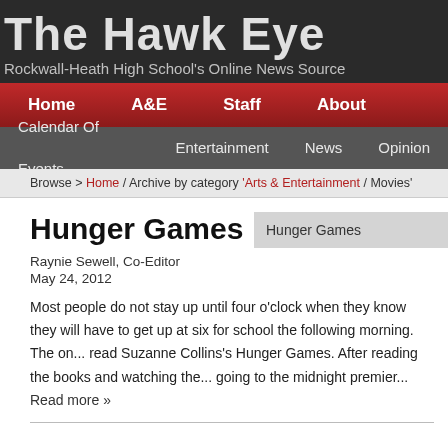The Hawk Eye
Rockwall-Heath High School's Online News Source
Home | A&E | Staff | About
Calendar Of Events | Entertainment | News | Opinion
Browse > Home / Archive by category 'Arts & Entertainment / Movies'
Hunger Games
Raynie Sewell, Co-Editor
May 24, 2012
[Figure (other): Hunger Games sidebar thumbnail label]
Most people do not stay up until four o'clock when they know they will have to get up at six for school the following morning. The one... read Suzanne Collins's Hunger Games. After reading the books and watching the... going to the midnight premier... Read more »